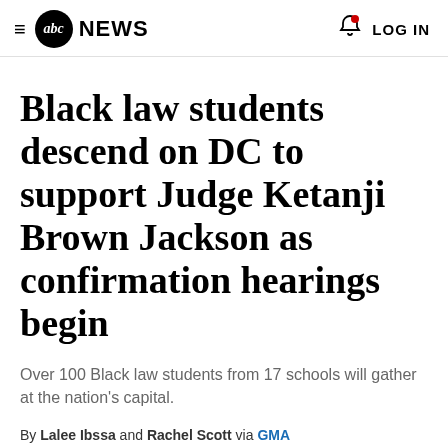≡ abc NEWS  🔔 LOG IN
Black law students descend on DC to support Judge Ketanji Brown Jackson as confirmation hearings begin
Over 100 Black law students from 17 schools will gather at the nation's capital.
By Lalee Ibssa and Rachel Scott via GMA